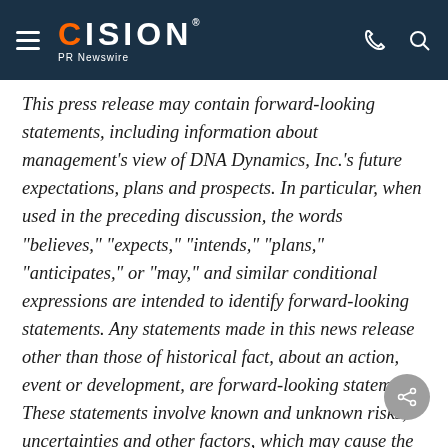CISION PR Newswire
This press release may contain forward-looking statements, including information about management's view of DNA Dynamics, Inc.'s future expectations, plans and prospects. In particular, when used in the preceding discussion, the words "believes," "expects," "intends," "plans," "anticipates," or "may," and similar conditional expressions are intended to identify forward-looking statements. Any statements made in this news release other than those of historical fact, about an action, event or development, are forward-looking statements. These statements involve known and unknown risks, uncertainties and other factors, which may cause the results of DNA Dynamics, its subsidiaries